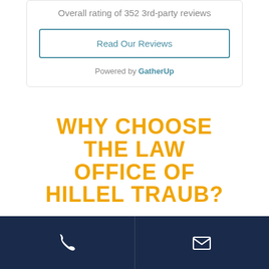Overall rating of 352 3rd-party reviews
Read Our Reviews
Powered by GatherUp
WHY CHOOSE THE LAW OFFICE OF HILLEL TRAUB?
Former Assistant Attorney General
[Figure (infographic): Dark navy bottom bar with phone icon on left half and email/envelope icon on right half, white icons on navy background]